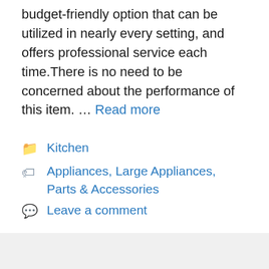budget-friendly option that can be utilized in nearly every setting, and offers professional service each time.There is no need to be concerned about the performance of this item. … Read more
Kitchen
Appliances, Large Appliances, Parts & Accessories
Leave a comment